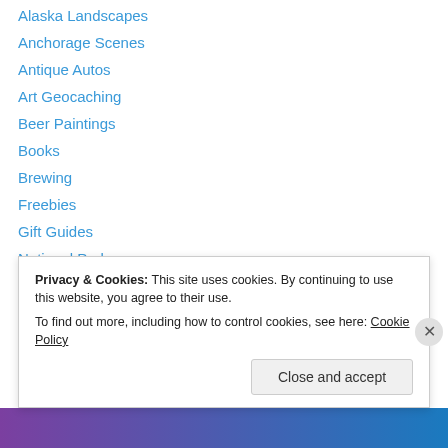Alaska Landscapes
Anchorage Scenes
Antique Autos
Art Geocaching
Beer Paintings
Books
Brewing
Freebies
Gift Guides
National Parks
Scenery
Skiing Paintings
The Business of Being an Artist
Privacy & Cookies: This site uses cookies. By continuing to use this website, you agree to their use. To find out more, including how to control cookies, see here: Cookie Policy
Close and accept